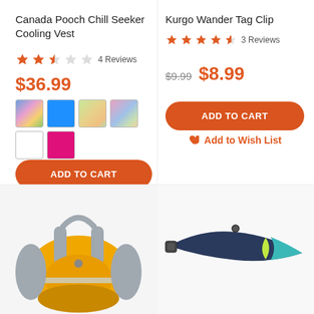Canada Pooch Chill Seeker Cooling Vest
4 Reviews
$36.99
ADD TO CART
Add to Wish List
Kurgo Wander Tag Clip
3 Reviews
$9.99 $8.99
ADD TO CART
Add to Wish List
[Figure (photo): Yellow and grey dog life jacket/flotation vest]
[Figure (photo): Dog collar/tag clip in navy blue, teal, and lime green colors]